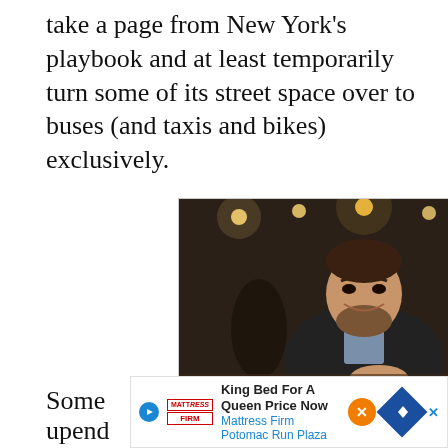take a page from New York’s playbook and at least temporarily turn some of its street space over to buses (and taxis and bikes) exclusively.
[Figure (photo): Advertisement featuring a man smiling in a restaurant/bar setting with warm lighting, with a blue banner below reading BACKYARD - A newsletter on equity in housing written by Correspondent Jared Brey]
Some ... he is upend... ng